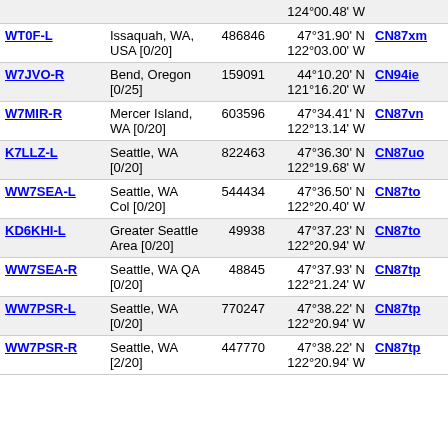| Callsign | Location | Node | Coordinates | Grid | Dist | Freq |
| --- | --- | --- | --- | --- | --- | --- |
|  |  |  | 124°00.48' W |  |  |  |
| WT0F-L | Issaquah, WA, USA [0/20] | 486846 | 47°31.90' N 122°03.00' W | CN87xm | 128.5 |  |
| W7JVO-R | Bend, Oregon [0/25] | 159091 | 44°10.20' N 121°16.20' W | CN94ie | 128.8 |  |
| W7MIR-R | Mercer Island, WA [0/20] | 603596 | 47°34.41' N 122°13.14' W | CN87vn | 129.7 |  |
| K7LLZ-L | Seattle, WA [0/20] | 822463 | 47°36.30' N 122°19.68' W | CN87uo | 131.0 |  |
| WW7SEA-L | Seattle, WA Col [0/20] | 544434 | 47°36.50' N 122°20.40' W | CN87to | 131.1 |  |
| KD6KHI-L | Greater Seattle Area [0/20] | 49938 | 47°37.23' N 122°20.94' W | CN87to | 131.9 |  |
| WW7SEA-R | Seattle, WA QA [0/20] | 48845 | 47°37.93' N 122°21.24' W | CN87tp | 132.7 |  |
| WW7PSR-L | Seattle, WA [0/20] | 770247 | 47°38.22' N 122°20.94' W | CN87tp | 133.1 | 52.870 |
| WW7PSR-R | Seattle, WA [2/20] | 447770 | 47°38.22' N 122°20.94' W | CN87tp | 133.1 | 146.960 |